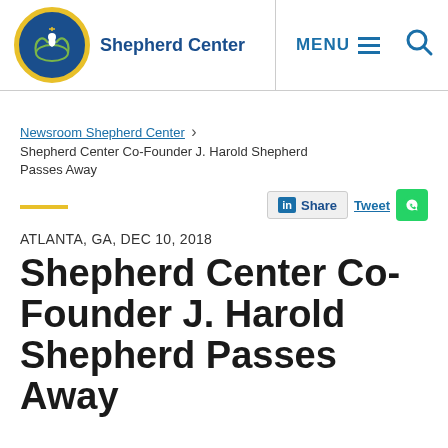Shepherd Center  MENU  [search]
Newsroom Shepherd Center › Shepherd Center Co-Founder J. Harold Shepherd Passes Away
ATLANTA, GA, DEC 10, 2018
Shepherd Center Co-Founder J. Harold Shepherd Passes Away